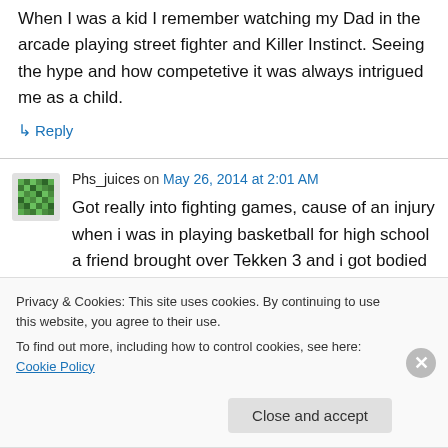When I was a kid I remember watching my Dad in the arcade playing street fighter and Killer Instinct. Seeing the hype and how competetive it was always intrigued me as a child.
↳ Reply
Phs_juices on May 26, 2014 at 2:01 AM
Got really into fighting games, cause of an injury when i was in playing basketball for high school a friend brought over Tekken 3 and i got bodied
Privacy & Cookies: This site uses cookies. By continuing to use this website, you agree to their use.
To find out more, including how to control cookies, see here: Cookie Policy
Close and accept